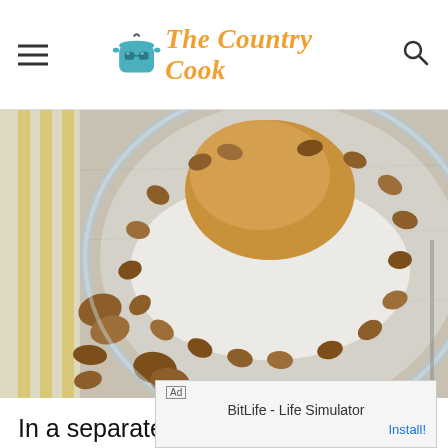The Country Cook
[Figure (photo): Overhead view of a glass mixing bowl containing chopped pecans arranged around a mound of brown sugar or spice, with additional whole pecans scattered on a white wooden surface with a gold-striped cloth visible at left.]
In a separate bowl, beat the eggs until foamy.
[Figure (photo): Bottom portion of another recipe step photo showing a light-colored surface with pecans.]
Ad  BitLife - Life Simulator  Install!